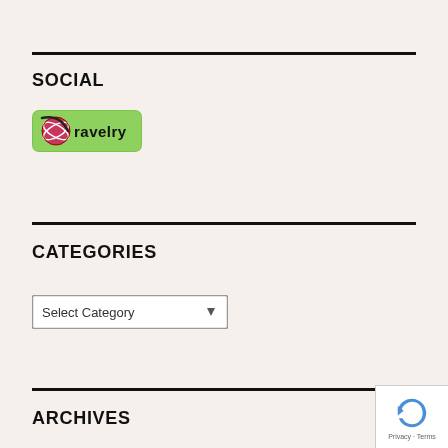SOCIAL
[Figure (logo): Ravelry social media button with green rounded rectangle background, pink/red ball of yarn icon, and 'ravelry' text in black]
CATEGORIES
Select Category (dropdown)
ARCHIVES
[Figure (other): Google reCAPTCHA badge with blue arrow icon and Privacy/Terms text]